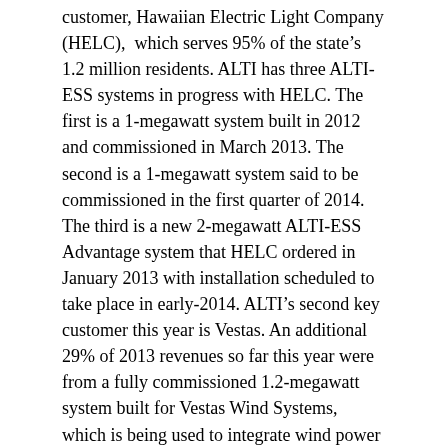customer, Hawaiian Electric Light Company (HELC), which serves 95% of the state's 1.2 million residents. ALTI has three ALTI-ESS systems in progress with HELC. The first is a 1-megawatt system built in 2012 and commissioned in March 2013. The second is a 1-megawatt system said to be commissioned in the first quarter of 2014. The third is a new 2-megawatt ALTI-ESS Advantage system that HELC ordered in January 2013 with installation scheduled to take place in early-2014. ALTI's second key customer this year is Vestas. An additional 29% of 2013 revenues so far this year were from a fully commissioned 1.2-megawatt system built for Vestas Wind Systems, which is being used to integrate wind power at a wind farm in Denmark. This system was fully commissioned and paid for in March 2013.
Conclusion